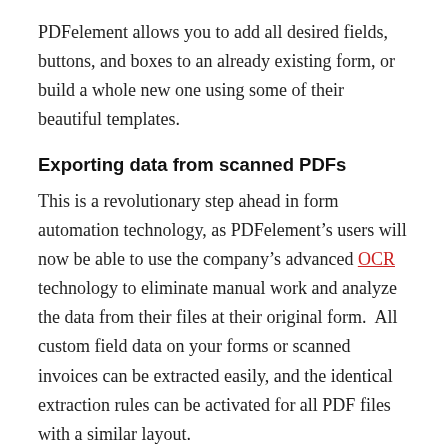PDFelement allows you to add all desired fields, buttons, and boxes to an already existing form, or build a whole new one using some of their beautiful templates.
Exporting data from scanned PDFs
This is a revolutionary step ahead in form automation technology, as PDFelement’s users will now be able to use the company’s advanced OCR technology to eliminate manual work and analyze the data from their files at their original form.  All custom field data on your forms or scanned invoices can be extracted easily, and the identical extraction rules can be activated for all PDF files with a similar layout.
A whole new level of text editing